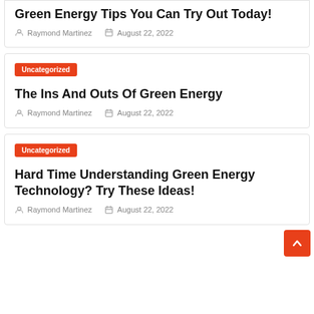Green Energy Tips You Can Try Out Today!
Raymond Martinez  August 22, 2022
Uncategorized
The Ins And Outs Of Green Energy
Raymond Martinez  August 22, 2022
Uncategorized
Hard Time Understanding Green Energy Technology? Try These Ideas!
Raymond Martinez  August 22, 2022